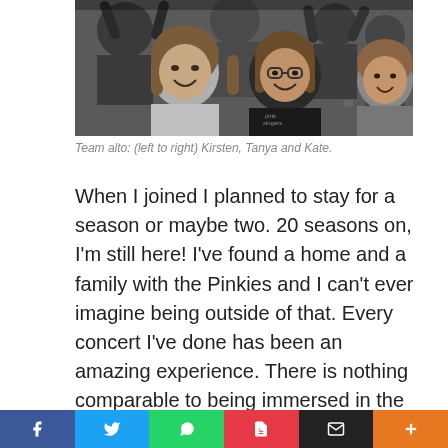[Figure (photo): Black and white group photo of three women smiling, identified as Team alto members Kirsten, Tanya and Kate. One woman wears a Pink Singers t-shirt.]
Team alto: (left to right) Kirsten, Tanya and Kate.
When I joined I planned to stay for a season or maybe two. 20 seasons on, I'm still here! I've found a home and a family with the Pinkies and I can't ever imagine being outside of that. Every concert I've done has been an amazing experience. There is nothing comparable to being immersed in the centre of that incredible sound of an eight-part harmony. The first time it happened it was a spiritual